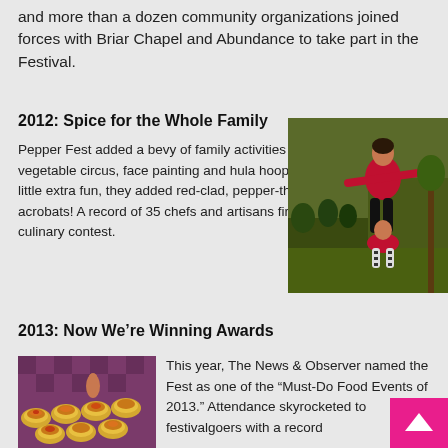and more than a dozen community organizations joined forces with Briar Chapel and Abundance to take part in the Festival.
2012: Spice for the Whole Family
Pepper Fest added a bevy of family activities (like a vegetable circus, face painting and hula hooping). For a little extra fun, they added red-clad, pepper-themed acrobats! A record of 35 chefs and artisans fired up the culinary contest.
[Figure (photo): Two women in red athletic wear performing an acrobatic pose outdoors at a festival, with a crowd in the background.]
2013: Now We're Winning Awards
[Figure (photo): Small taco appetizers or tostadas arranged on a purple checkered tablecloth, with toppings of vegetables and sauces.]
This year, The News & Observer named the Fest as one of the "Must-Do Food Events of 2013." Attendance skyrocketed to festivalgoers with a record